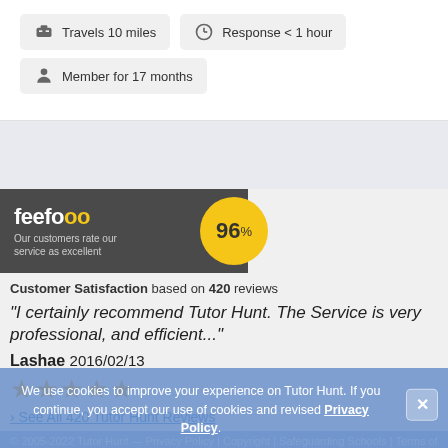Travels 10 miles
Response < 1 hour
Member for 17 months
[Figure (logo): Feefo logo with tagline 'Our customers rate our service as excellent' and 96% rating circle]
Customer Satisfaction based on 420 reviews
"I certainly recommend Tutor Hunt. The Service is very professional, and efficient..."
Lashae 2016/02/13
★★★★★
› See All 420 Tutor Hunt Reviews
We use cookies to improve your experience on Tutor Hunt. If you continue, you accept our use of cookies and revised Privacy Policy.
© 2005-2022 Tutor Hunt — Privacy Policy | Copyright | Safeguarding Schools | Terms of Service